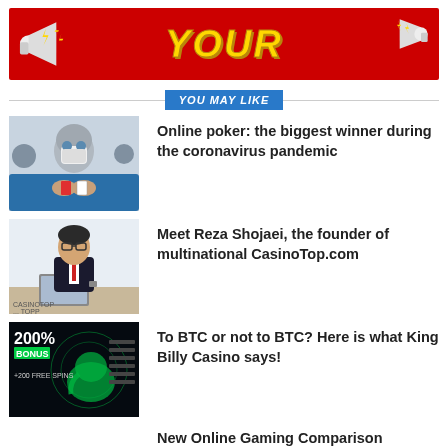[Figure (infographic): Red banner advertisement with megaphones on left and right sides, and the word YOUR in large gold italic text in the center with lightning bolt decorations]
YOU MAY LIKE
[Figure (photo): Person wearing face mask and grey hoodie sitting at a poker table holding cards]
Online poker: the biggest winner during the coronavirus pandemic
[Figure (photo): Man in business suit sitting at a desk with a laptop]
Meet Reza Shojaei, the founder of multinational CasinoTop.com
[Figure (screenshot): Dark casino promotion image showing 200% bonus and 200 free spins with neon elephant graphic]
To BTC or not to BTC? Here is what King Billy Casino says!
New Online Gaming Comparison Website Launched